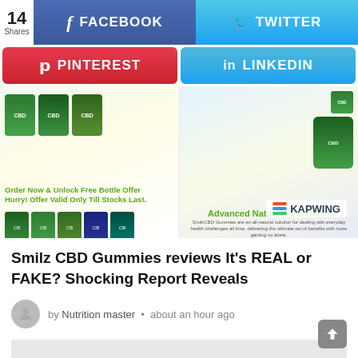[Figure (screenshot): Social share buttons row: 14 Shares, Facebook button (blue), Twitter button (light blue)]
[Figure (screenshot): Social share buttons row 2: Pinterest button (red), LinkedIn button (blue)]
[Figure (screenshot): Two CBD product advertisement images side by side: left shows CBD gummies with green text 'Order Now & Unlock Free Bottle Offer Hurry! Offer Valid Only Till Stocks Last.' and right shows 'Advanced Natural Pain Relief' with Kapwing watermark]
Smilz CBD Gummies reviews It's REAL or FAKE? Shocking Report Reveals
by Nutrition master • about an hour ago